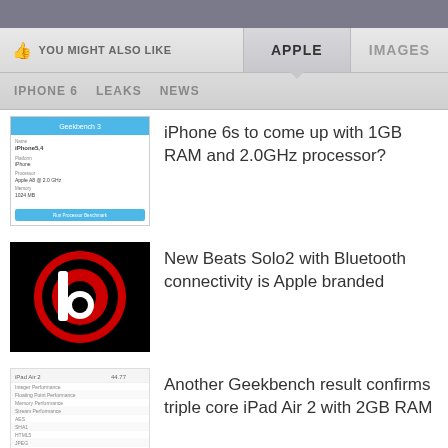YOU MIGHT ALSO LIKE | APPLE | IMAGES
IPHONE 6   LEAKS   NEWS
iPhone 6s to come up with 1GB RAM and 2.0GHz processor?
New Beats Solo2 with Bluetooth connectivity is Apple branded
Another Geekbench result confirms triple core iPad Air 2 with 2GB RAM
iPad Air 2 is a triple-core tablet with 2GB RAM [BENCHMARK]